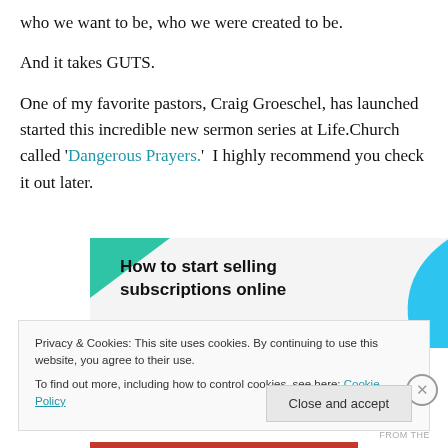who we want to be, who we were created to be.
And it takes GUTS.
One of my favorite pastors, Craig Groeschel, has launched started this incredible new sermon series at Life.Church called ‘Dangerous Prayers.’  I highly recommend you check it out later.
[Figure (infographic): Ad banner with teal triangle top-left, blue curved shape top-right, text: How to start selling subscriptions online]
Privacy & Cookies: This site uses cookies. By continuing to use this website, you agree to their use.
To find out more, including how to control cookies, see here: Cookie Policy
Close and accept